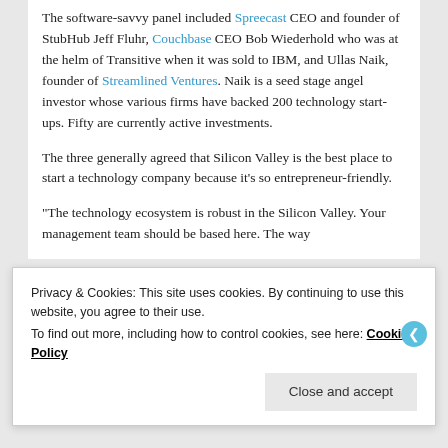The software-savvy panel included Spreecast CEO and founder of StubHub Jeff Fluhr, Couchbase CEO Bob Wiederhold who was at the helm of Transitive when it was sold to IBM, and Ullas Naik, founder of Streamlined Ventures. Naik is a seed stage angel investor whose various firms have backed 200 technology start-ups. Fifty are currently active investments.
The three generally agreed that Silicon Valley is the best place to start a technology company because it's so entrepreneur-friendly.
“The technology ecosystem is robust in the Silicon Valley. Your management team should be based here. The way
Privacy & Cookies: This site uses cookies. By continuing to use this website, you agree to their use.
To find out more, including how to control cookies, see here: Cookie Policy